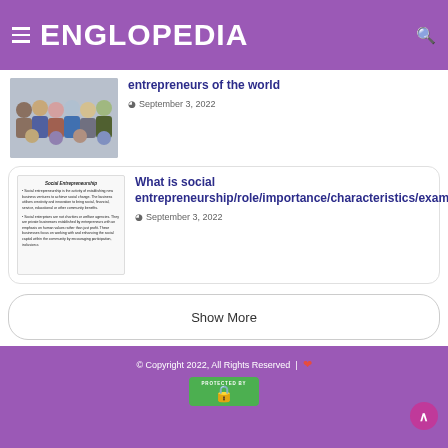ENGLOPEDIA
entrepreneurs of the world
September 3, 2022
What is social entrepreneurship/role/importance/characteristics/examples
September 3, 2022
Show More
© Copyright 2022, All Rights Reserved  |  ❤  PROTECTED BY